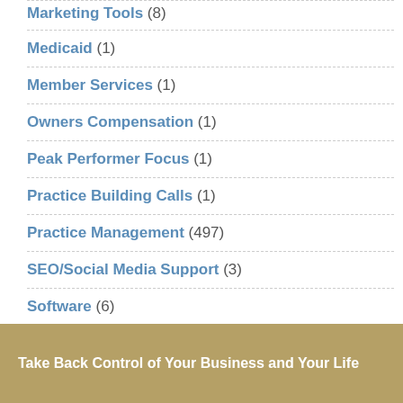Marketing Tools (8)
Medicaid (1)
Member Services (1)
Owners Compensation (1)
Peak Performer Focus (1)
Practice Building Calls (1)
Practice Management (497)
SEO/Social Media Support (3)
Software (6)
Take Back Control of Your Business and Your Life